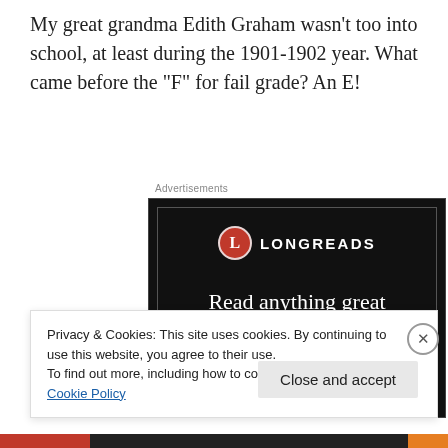My great grandma Edith Graham wasn't too into school, at least during the 1901-1902 year. What came before the "F" for fail grade? An E!
[Figure (screenshot): Longreads advertisement banner on dark/black background with logo, tagline 'Read anything great lately?' and red 'Start reading' button]
Privacy & Cookies: This site uses cookies. By continuing to use this website, you agree to their use.
To find out more, including how to control cookies, see here: Cookie Policy